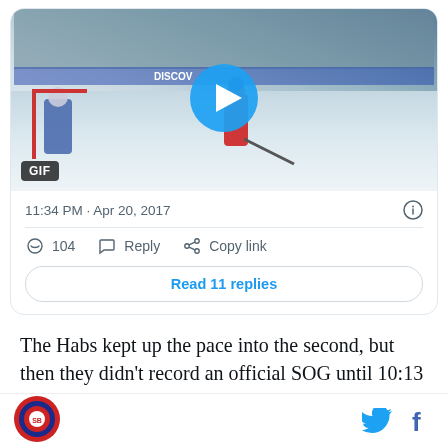[Figure (screenshot): Embedded tweet showing a GIF of an NHL hockey game (Montreal Canadiens player on ice near goal). A blue play button overlay is centered on the image with a GIF badge in the lower left.]
11:34 PM · Apr 20, 2017
104  Reply  Copy link
Read 11 replies
The Habs kept up the pace into the second, but then they didn't record an official SOG until 10:13 into the
[Figure (logo): Circular red/blue sports logo at bottom left]
[Figure (logo): Twitter bird icon and Facebook f icon at bottom right]